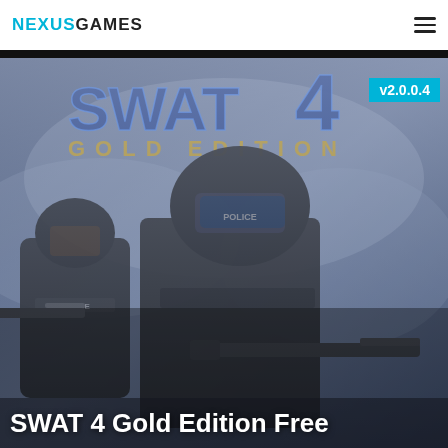NEXUSGAMES
[Figure (photo): SWAT 4 Gold Edition game cover showing two armored SWAT police officers in tactical gear holding rifles, with smoky blue background and the title 'SWAT 4 GOLD EDITION' at the top]
v2.0.0.4
SWAT 4 Gold Edition Free